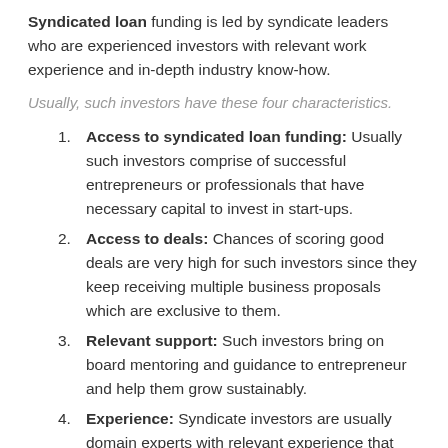Syndicated loan funding is led by syndicate leaders who are experienced investors with relevant work experience and in-depth industry know-how.
Usually, such investors have these four characteristics.
Access to syndicated loan funding: Usually such investors comprise of successful entrepreneurs or professionals that have necessary capital to invest in start-ups.
Access to deals: Chances of scoring good deals are very high for such investors since they keep receiving multiple business proposals which are exclusive to them.
Relevant support: Such investors bring on board mentoring and guidance to entrepreneur and help them grow sustainably.
Experience: Syndicate investors are usually domain experts with relevant experience that might result in making the right investments.